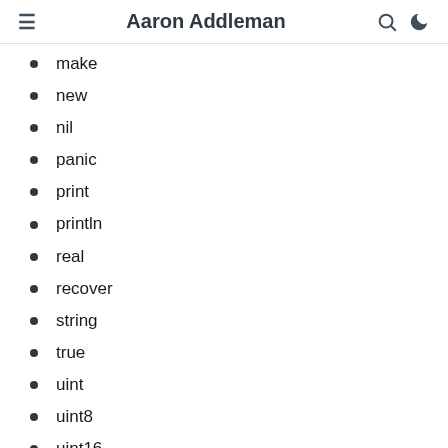Aaron Addleman
make
new
nil
panic
print
println
real
recover
string
true
uint
uint8
uint16
uint32
uint64
uintptr